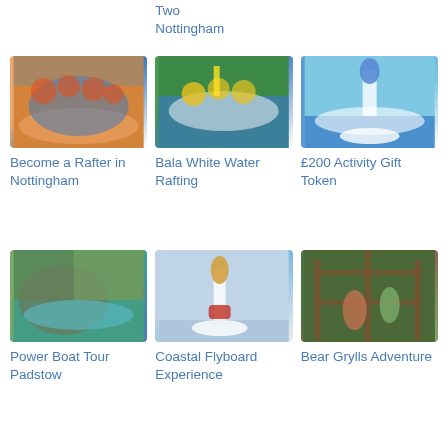Two
Nottingham
[Figure (photo): People white water rafting in orange raft with helmets and paddles]
Become a Rafter in Nottingham
[Figure (photo): Group kayaking in white water rapids]
Bala White Water Rafting
[Figure (photo): Person on flyboard rising above water with jet spray]
£200 Activity Gift Token
[Figure (photo): Coastal cliff scene with turquoise water]
Power Boat Tour Padstow
[Figure (photo): Person on flyboard in the air with yellow helmet]
Coastal Flyboard Experience
[Figure (photo): Adults and children on an outdoor adventure course climbing structure]
Bear Grylls Adventure